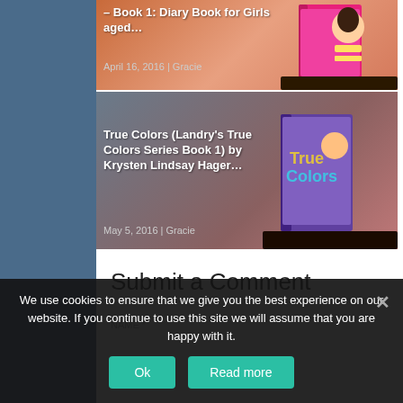[Figure (screenshot): Book card 1: title '– Book 1: Diary Book for Girls aged…', date 'April 16, 2016 | Gracie', with book cover image on peach/orange background]
[Figure (screenshot): Book card 2: title 'True Colors (Landry's True Colors Series Book 1) by Krysten Lindsay Hager…', date 'May 5, 2016 | Gracie', with book cover image on pink/grey background]
Submit a Comment
We use cookies to ensure that we give you the best experience on our website. If you continue to use this site we will assume that you are happy with it.
Ok   Read more